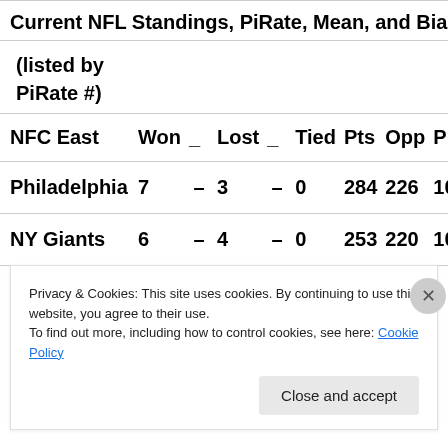Current NFL Standings, PiRate, Mean, and Biased Rati…
(listed by PiRate #)
| NFC East | Won | _ | Lost | _ | Tied | Pts | Opp | Pi |
| --- | --- | --- | --- | --- | --- | --- | --- | --- |
| Philadelphia | 7 | – | 3 | – | 0 | 284 | 226 | 10 |
| NY Giants | 6 | – | 4 | – | 0 | 253 | 220 | 10 |
Privacy & Cookies: This site uses cookies. By continuing to use this website, you agree to their use.
To find out more, including how to control cookies, see here: Cookie Policy